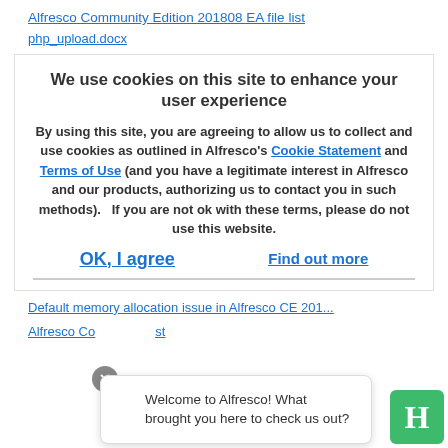Alfresco Community Edition 201808 EA file list
php_upload.docx
We use cookies on this site to enhance your user experience
By using this site, you are agreeing to allow us to collect and use cookies as outlined in Alfresco's Cookie Statement and Terms of Use (and you have a legitimate interest in Alfresco and our products, authorizing us to contact you in such methods).   If you are not ok with these terms, please do not use this website.
OK, I agree
Find out more
Default memory allocation issue in Alfresco CE 201...
Alfresco Co...                                                                        st
Welcome to Alfresco! What brought you here to check us out?